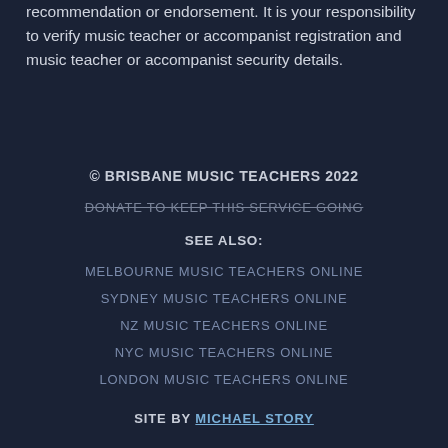recommendation or endorsement. It is your responsibility to verify music teacher or accompanist registration and music teacher or accompanist security details.
© BRISBANE MUSIC TEACHERS 2022
DONATE TO KEEP THIS SERVICE GOING
SEE ALSO:
MELBOURNE MUSIC TEACHERS ONLINE
SYDNEY MUSIC TEACHERS ONLINE
NZ MUSIC TEACHERS ONLINE
NYC MUSIC TEACHERS ONLINE
LONDON MUSIC TEACHERS ONLINE
SITE BY MICHAEL STORY